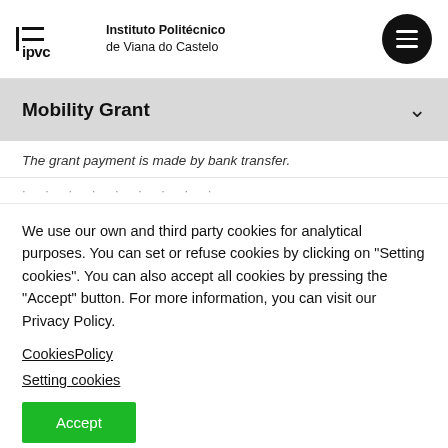Instituto Politécnico de Viana do Castelo
Mobility Grant
The grant payment is made by bank transfer.
We use our own and third party cookies for analytical purposes. You can set or refuse cookies by clicking on "Setting cookies". You can also accept all cookies by pressing the "Accept" button. For more information, you can visit our Privacy Policy.
CookiesPolicy
Setting cookies
Accept